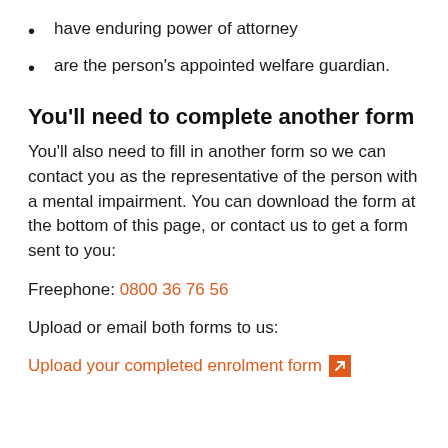have enduring power of attorney
are the person's appointed welfare guardian.
You'll need to complete another form
You'll also need to fill in another form so we can contact you as the representative of the person with a mental impairment. You can download the form at the bottom of this page, or contact us to get a form sent to you:
Freephone: 0800 36 76 56
Upload or email both forms to us:
Upload your completed enrolment form